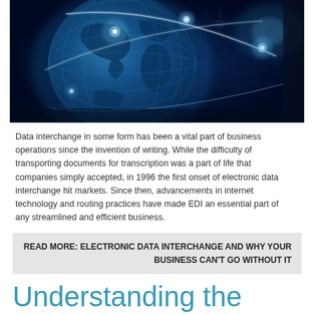[Figure (photo): Hero image of a digital global network visualization showing a glowing world globe with blue light trails and circuit-board style overlays on a dark blue background, representing global data interchange and internet connectivity.]
Data interchange in some form has been a vital part of business operations since the invention of writing. While the difficulty of transporting documents for transcription was a part of life that companies simply accepted, in 1996 the first onset of electronic data interchange hit markets. Since then, advancements in internet technology and routing practices have made EDI an essential part of any streamlined and efficient business.
READ MORE: ELECTRONIC DATA INTERCHANGE AND WHY YOUR BUSINESS CAN'T GO WITHOUT IT
Understanding the